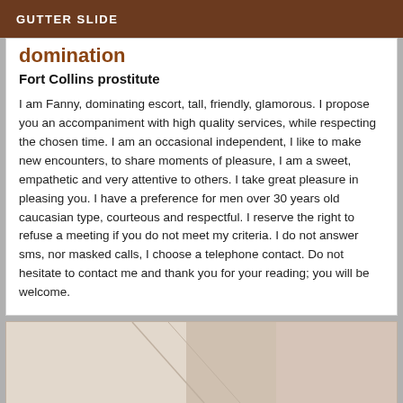GUTTER SLIDE
domination
Fort Collins prostitute
I am Fanny, dominating escort, tall, friendly, glamorous. I propose you an accompaniment with high quality services, while respecting the chosen time. I am an occasional independent, I like to make new encounters, to share moments of pleasure, I am a sweet, empathetic and very attentive to others. I take great pleasure in pleasing you. I have a preference for men over 30 years old caucasian type, courteous and respectful. I reserve the right to refuse a meeting if you do not meet my criteria. I do not answer sms, nor masked calls, I choose a telephone contact. Do not hesitate to contact me and thank you for your reading; you will be welcome.
[Figure (photo): A partially visible photo at the bottom of the page, showing light-colored surfaces, appears to be a bedroom or interior scene.]